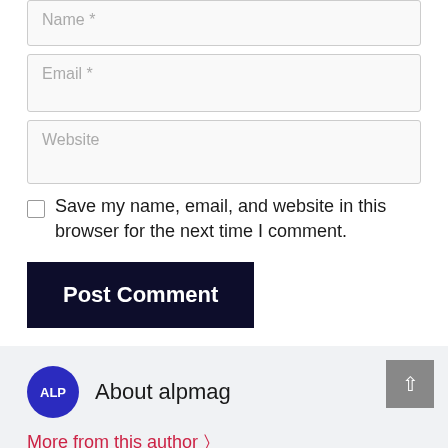Name *
Email *
Website
Save my name, email, and website in this browser for the next time I comment.
Post Comment
[Figure (illustration): Blue circular avatar badge with white text ALP]
About alpmag
More from this author >